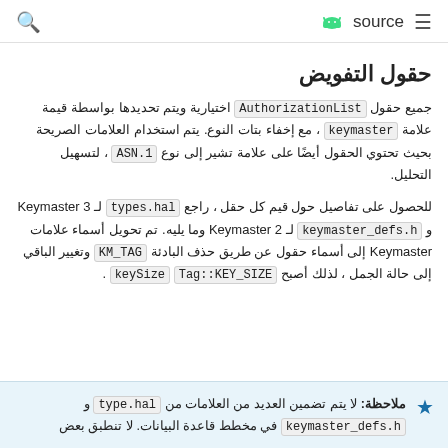🔍   source  ☰
حقول التفويض
جميع حقول AuthorizationList اختيارية ويتم تحديدها بواسطة قيمة علامة keymaster ، مع إخفاء بتات النوع. يتم استخدام العلامات الصريحة بحيث تحتوي الحقول أيضًا على علامة تشير إلى نوع ASN.1 ، لتسهيل التحليل.
للحصول على تفاصيل حول قيم كل حقل ، راجع types.hal لـ Keymaster 3 و keymaster_defs.h لـ Keymaster 2 وما يليه. تم تحويل أسماء علامات Keymaster إلى أسماء حقول عن طريق حذف البادئة KM_TAG وتغيير الباقي إلى حالة الجمل ، لذلك أصبح keySize Tag::KEY_SIZE .
ملاحظة: لا يتم تضمين العديد من العلامات من type.hal و keymaster_defs.h في مخطط قاعدة البيانات. لا تنطبق بعض